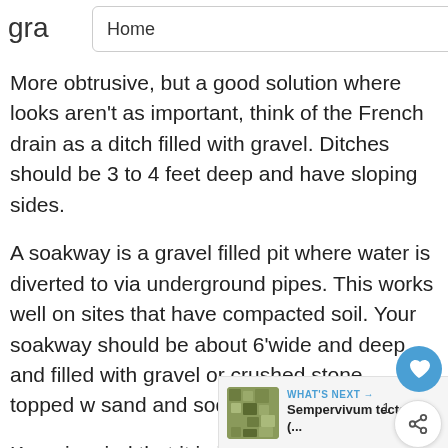gra  Home
More obtrusive, but a good solution where looks aren't as important, think of the French drain as a ditch filled with gravel. Ditches should be 3 to 4 feet deep and have sloping sides.
A soakway is a gravel filled pit where water is diverted to via underground pipes. This works well on sites that have compacted soil. Your soakway should be about 6'wide and deep and filled with gravel or crushed stone, topped w sand and sodded or seeded.
Keep in mind that it is illegal to diver onto other people's property. If you do not feel